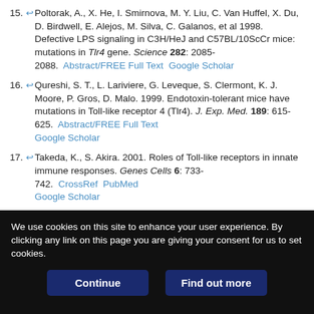15. Poltorak, A., X. He, I. Smirnova, M. Y. Liu, C. Van Huffel, X. Du, D. Birdwell, E. Alejos, M. Silva, C. Galanos, et al 1998. Defective LPS signaling in C3H/HeJ and C57BL/10ScCr mice: mutations in Tlr4 gene. Science 282: 2085-2088. Abstract/FREE Full Text Google Scholar
16. Qureshi, S. T., L. Lariviere, G. Leveque, S. Clermont, K. J. Moore, P. Gros, D. Malo. 1999. Endotoxin-tolerant mice have mutations in Toll-like receptor 4 (Tlr4). J. Exp. Med. 189: 615-625. Abstract/FREE Full Text Google Scholar
17. Takeda, K., S. Akira. 2001. Roles of Toll-like receptors in innate immune responses. Genes Cells 6: 733-742. CrossRef PubMed Google Scholar
18. Pålsson-McDermott, E. M., L. A. J. O'Neill. 2004. Signal transduction by the lipopolysaccharide receptor, Toll-like receptor-4. Immunology 113: 153-164. CrossRef PubMed Google Scholar
We use cookies on this site to enhance your user experience. By clicking any link on this page you are giving your consent for us to set cookies.